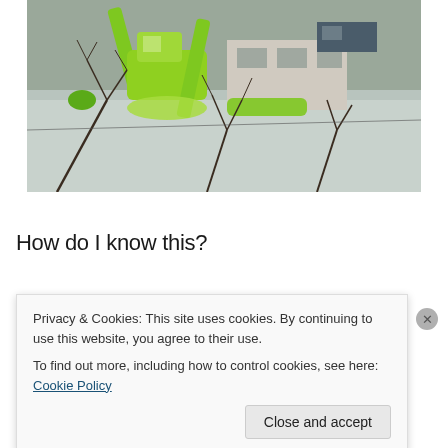[Figure (photo): Outdoor winter scene showing green heavy machinery/excavator equipment operating on or near a frozen body of water. Bare tree branches visible in foreground. Buildings and a vehicle visible in background.]
How do I know this?
A few years ago, a different group of tets was directed by...
Privacy & Cookies: This site uses cookies. By continuing to use this website, you agree to their use.
To find out more, including how to control cookies, see here: Cookie Policy